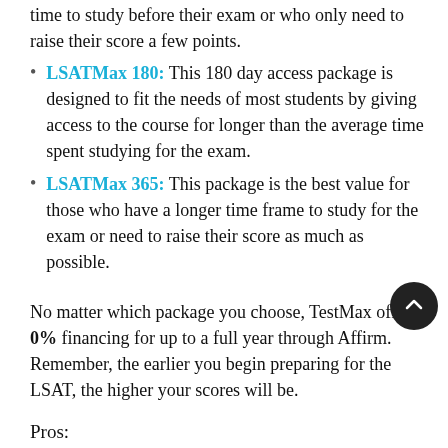time to study before their exam or who only need to raise their score a few points.
LSATMax 180: This 180 day access package is designed to fit the needs of most students by giving access to the course for longer than the average time spent studying for the exam.
LSATMax 365: This package is the best value for those who have a longer time frame to study for the exam or need to raise their score as much as possible.
No matter which package you choose, TestMax offers 0% financing for up to a full year through Affirm. Remember, the earlier you begin preparing for the LSAT, the higher your scores will be.
Pros: